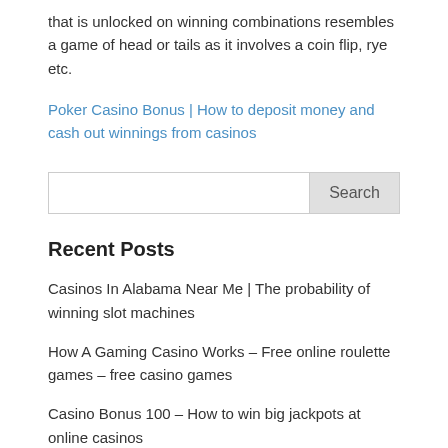that is unlocked on winning combinations resembles a game of head or tails as it involves a coin flip, rye etc.
Poker Casino Bonus | How to deposit money and cash out winnings from casinos
Search
Recent Posts
Casinos In Alabama Near Me | The probability of winning slot machines
How A Gaming Casino Works – Free online roulette games – free casino games
Casino Bonus 100 – How to win big jackpots at online casinos
Hollywood Casino Online Free Slot Machines For No...